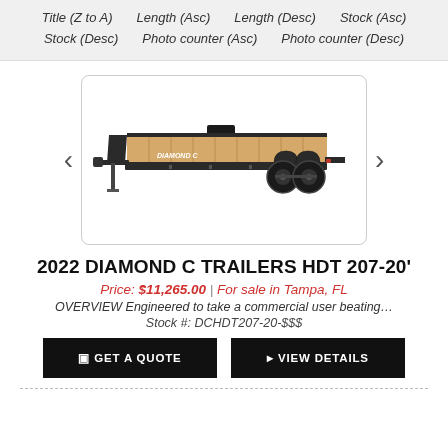Title (Z to A)   Length (Asc)   Length (Desc)   Stock (Asc)
Stock (Desc)   Photo counter (Asc)   Photo counter (Desc)
[Figure (photo): A Diamond C Trailers HDT 207-20' flatbed/tilt trailer shown in side profile against a white background. The trailer is dark/black colored with a wooden deck surface and dual axle wheels.]
2022 DIAMOND C TRAILERS HDT 207-20'
Price: $11,265.00 | For sale in Tampa, FL
OVERVIEW Engineered to take a commercial user beating…
Stock #: DCHDT207-20-$$$
GET A QUOTE
VIEW DETAILS